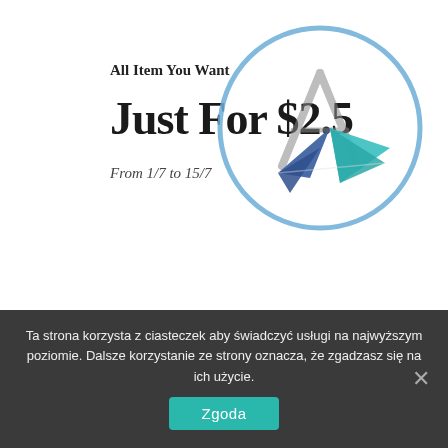All Item You Want
Just For $2.5
From 1/7 to 15/7
[Figure (logo): Circular logo with compass/drafting compass icon in gray and a stylized paper airplane/arrow icon in blue and teal colors, set inside a light blue circle outline]
BUY NOW
Ta strona korzysta z ciasteczek aby świadczyć usługi na najwyższym poziomie. Dalsze korzystanie ze strony oznacza, że zgadzasz się na ich użycie.
Zgoda